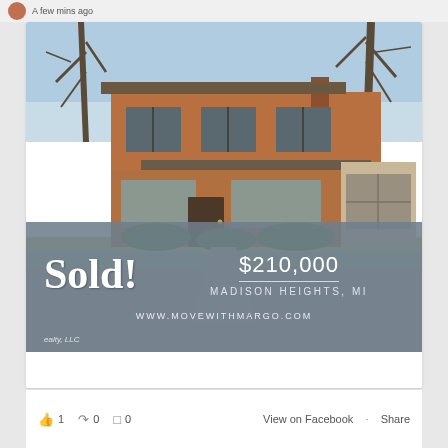A few mins ago
[Figure (photo): Facebook post screenshot showing a sold real estate listing. Photo of a two-story brick house with bare trees, green shrubs, and a garage. Overlay banner at bottom reads: Sold! $210,000 MADISON HEIGHTS, MI www.movewithmargo.com. Watermark: ealty, LLC]
ealty, LLC
1  0  0
View on Facebook · Share